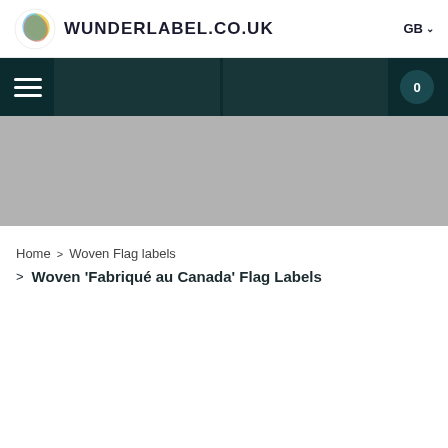WUNDERLABEL.CO.UK  GB
Navigation bar with hamburger menu and cart icon showing 0
[Figure (other): Gray hero banner image placeholder]
Home > Woven Flag labels > Woven 'Fabriqué au Canada' Flag Labels